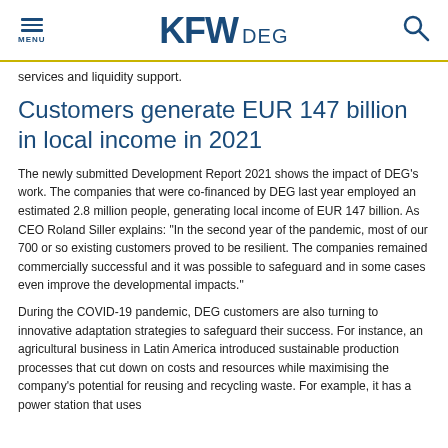MENU | KFW DEG | Search
services and liquidity support.
Customers generate EUR 147 billion in local income in 2021
The newly submitted Development Report 2021 shows the impact of DEG’s work. The companies that were co-financed by DEG last year employed an estimated 2.8 million people, generating local income of EUR 147 billion. As CEO Roland Siller explains: “In the second year of the pandemic, most of our 700 or so existing customers proved to be resilient. The companies remained commercially successful and it was possible to safeguard and in some cases even improve the developmental impacts.”
During the COVID-19 pandemic, DEG customers are also turning to innovative adaptation strategies to safeguard their success. For instance, an agricultural business in Latin America introduced sustainable production processes that cut down on costs and resources while maximising the company’s potential for reusing and recycling waste. For example, it has a power station that uses